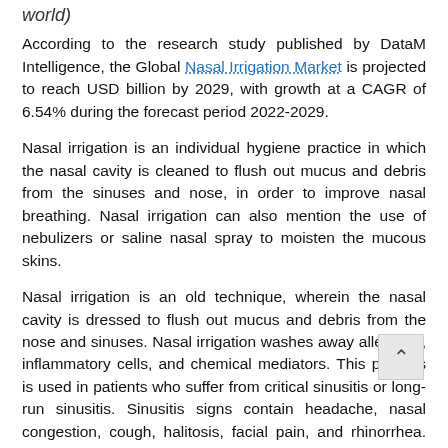world)
According to the research study published by DataM Intelligence, the Global Nasal Irrigation Market is projected to reach USD billion by 2029, with growth at a CAGR of 6.54% during the forecast period 2022-2029.
Nasal irrigation is an individual hygiene practice in which the nasal cavity is cleaned to flush out mucus and debris from the sinuses and nose, in order to improve nasal breathing. Nasal irrigation can also mention the use of nebulizers or saline nasal spray to moisten the mucous skins.
Nasal irrigation is an old technique, wherein the nasal cavity is dressed to flush out mucus and debris from the nose and sinuses. Nasal irrigation washes away allergens, inflammatory cells, and chemical mediators. This process is used in patients who suffer from critical sinusitis or long-run sinusitis. Sinusitis signs contain headache, nasal congestion, cough, halitosis, facial pain, and rhinorrhea. Nasal irrigators are used to treat and dismiss these complications.